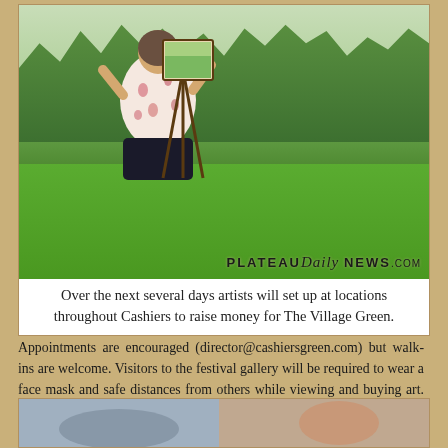[Figure (photo): A person seen from behind, wearing a floral shirt, painting on an easel outdoors in a grassy area with trees in the background. A Plateau Daily News watermark is visible in the lower right corner of the photo.]
Over the next several days artists will set up at locations throughout Cashiers to raise money for The Village Green.
Appointments are encouraged (director@cashiersgreen.com) but walk-ins are welcome. Visitors to the festival gallery will be required to wear a face mask and safe distances from others while viewing and buying art. An online gallery will also display their work to view and purchase.
[Figure (photo): Partial view of a second photo at the bottom of the page, showing people outdoors.]